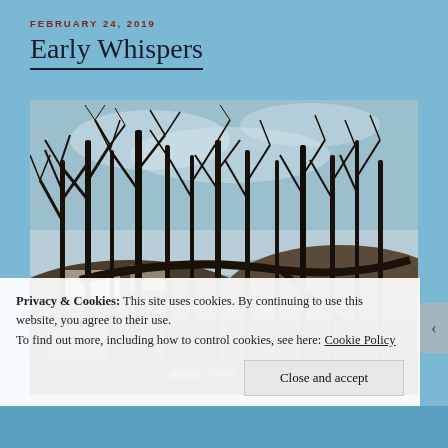FEBRUARY 24, 2019
Early Whispers
[Figure (photo): Photograph of bare winter trees with dark branches against a pale sky, with a body of water and rolling hills visible in the background.]
Privacy & Cookies: This site uses cookies. By continuing to use this website, you agree to their use.
To find out more, including how to control cookies, see here: Cookie Policy
Close and accept